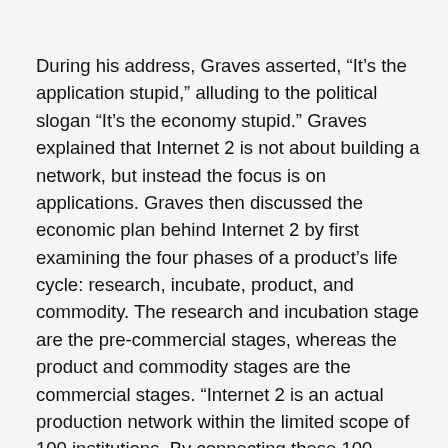During his address, Graves asserted, “It’s the application stupid,” alluding to the political slogan “It’s the economy stupid.” Graves explained that Internet 2 is not about building a network, but instead the focus is on applications. Graves then discussed the economic plan behind Internet 2 by first examining the four phases of a product’s life cycle: research, incubate, product, and commodity. The research and incubation stage are the pre-commercial stages, whereas the product and commodity stages are the commercial stages. “Internet 2 is an actual production network within the limited scope of 100 institutions. By connecting these 100 institutions, Internet 2 can provide the groundwork for the next level, the commercial sector,” said Graves. “We want the Internet 2 project to become a commercial success and even a